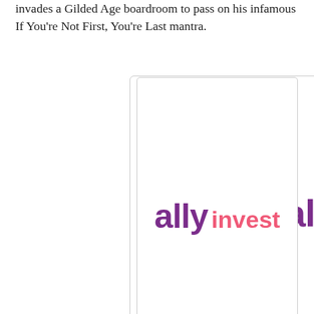invades a Gilded Age boardroom to pass on his infamous If You're Not First, You're Last mantra.
[Figure (logo): Ally Invest logo — 'ally' in bold purple and 'invest' in pink/coral, sans-serif font on white background with light border]
Susan (Amy Adams), Ricky's assistant and eventual love interest, gives the climactic inspirational speech, of course, and I could see her bringing identical zeal to some otherwise hackneyed pitch about investing in yourself.
[Figure (photo): Photograph of a Waffle House restaurant exterior at dusk/night, showing the illuminated yellow sign with 'WAFFLE HOUSE' text and the characteristic roofline]